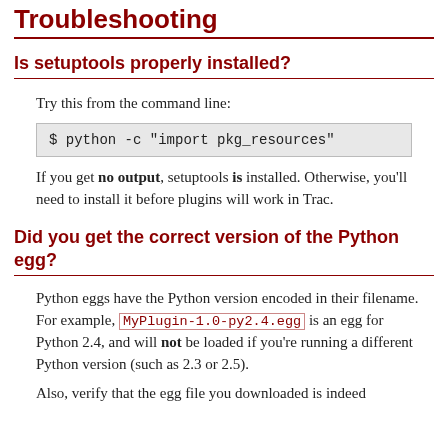Troubleshooting
Is setuptools properly installed?
Try this from the command line:
$ python -c "import pkg_resources"
If you get no output, setuptools is installed. Otherwise, you'll need to install it before plugins will work in Trac.
Did you get the correct version of the Python egg?
Python eggs have the Python version encoded in their filename. For example, MyPlugin-1.0-py2.4.egg is an egg for Python 2.4, and will not be loaded if you're running a different Python version (such as 2.3 or 2.5).
Also, verify that the egg file you downloaded is indeed